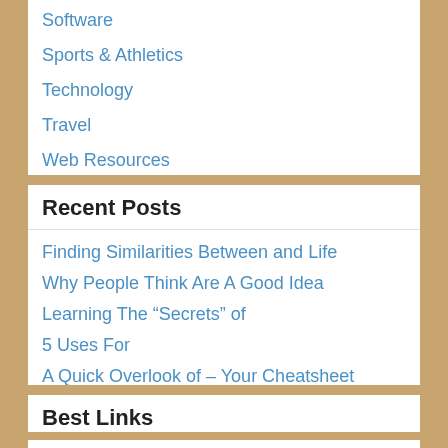Software
Sports & Athletics
Technology
Travel
Web Resources
Recent Posts
Finding Similarities Between and Life
Why People Think Are A Good Idea
Learning The “Secrets” of
5 Uses For
A Quick Overlook of – Your Cheatsheet
Best Links
Favourite Links